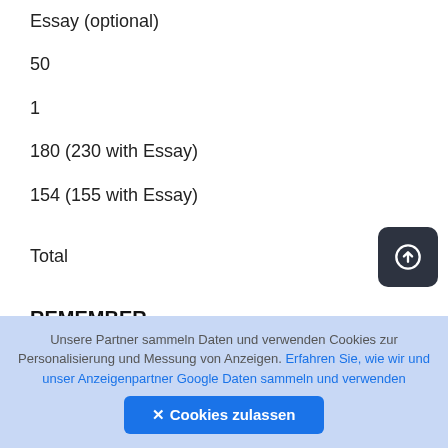Essay (optional)
50
1
180 (230 with Essay)
154 (155 with Essay)
Total
REMEMBER
Unsere Partner sammeln Daten und verwenden Cookies zur Personalisierung und Messung von Anzeigen. Erfahren Sie, wie wir und unser Anzeigenpartner Google Daten sammeln und verwenden